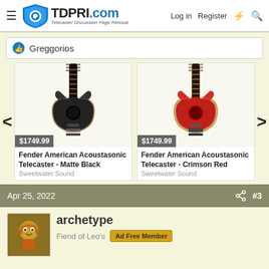TDPRI.com - Telecaster Discussion Page Reissue | Log in | Register
Greggorios
[Figure (photo): Fender American Acoustasonic Telecaster in Matte Black, priced at $1749.99, sold by Sweetwater Sound]
Fender American Acoustasonic Telecaster - Matte Black
Sweetwater Sound
[Figure (photo): Fender American Acoustasonic Telecaster in Crimson Red, priced at $1749.99, sold by Sweetwater Sound]
Fender American Acoustasonic Telecaster - Crimson Red
Sweetwater Sound
Apr 25, 2022  #3
archetype
Fiend of Leo's  Ad Free Member